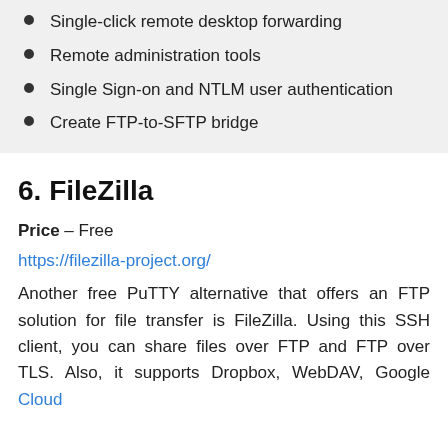Single-click remote desktop forwarding
Remote administration tools
Single Sign-on and NTLM user authentication
Create FTP-to-SFTP bridge
6. FileZilla
Price – Free
https://filezilla-project.org/
Another free PuTTY alternative that offers an FTP solution for file transfer is FileZilla. Using this SSH client, you can share files over FTP and FTP over TLS. Also, it supports Dropbox, WebDAV, Google Cloud